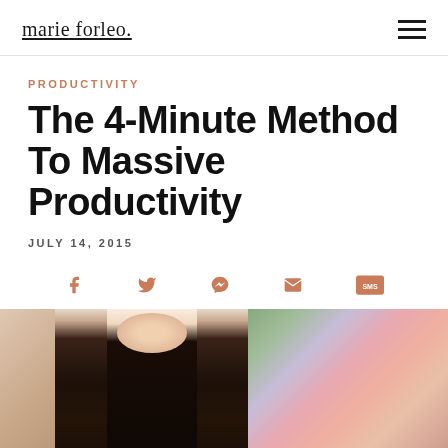marie forleo.
PRODUCTIVITY
The 4-Minute Method To Massive Productivity
JULY 14, 2015
[Figure (other): Social share icons row: Facebook, Twitter, Messenger, Email, SMS]
[Figure (photo): Cropped photo of a dark-haired woman smiling, visible from shoulders up, with a colorful abstract painting and greenery in background]